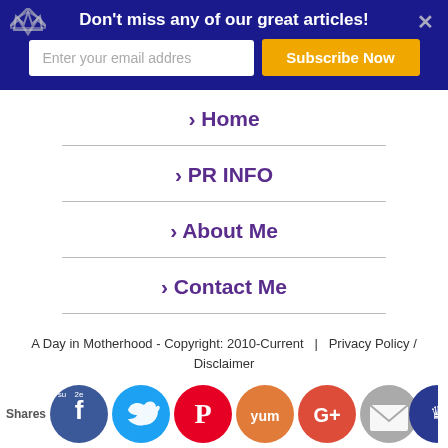Don't miss any of our great articles!
> Home
> PR INFO
> About Me
> Contact Me
A Day in Motherhood - Copyright: 2010-Current  |  Privacy Policy / Disclaimer